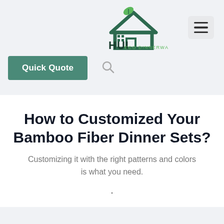[Figure (logo): HUI Eco Dinnerware logo with green house and leaf icon]
Quick Quote
How to Customized Your Bamboo Fiber Dinner Sets?
Customizing it with the right patterns and colors is what you need.